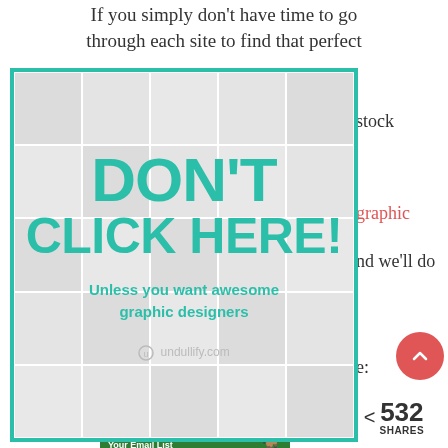If you simply don't have time to go through each site to find that perfect stock
[Figure (infographic): Advertisement with teal border showing 'DON'T CLICK HERE!' in large teal bold text over a background of faded faces, with subtitle 'Unless you want awesome graphic designers' and undullify.com branding]
graphic and we'll do
e:
rresistible Build and Grow Your Email List
[Figure (infographic): Green banner thumbnail for email list growth guide]
[Figure (infographic): Red circle scroll-to-top button]
< 532 SHARES
Facebook share button
Twitter share button
Pinterest share button
LinkedIn share button